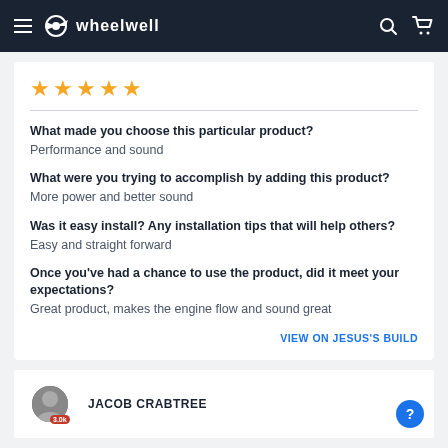wheelwell
★★★★★ (5 stars)
What made you choose this particular product?
Performance and sound
What were you trying to accomplish by adding this product?
More power and better sound
Was it easy install? Any installation tips that will help others?
Easy and straight forward
Once you've had a chance to use the product, did it meet your expectations?
Great product, makes the engine flow and sound great
VIEW ON JESUS'S BUILD
JACOB CRABTREE